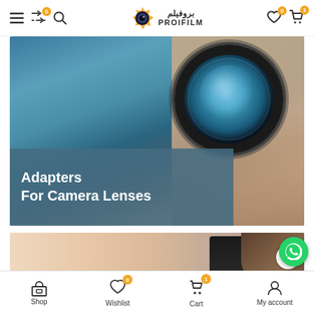[Figure (screenshot): Mobile e-commerce website header with hamburger menu, shuffle icon with badge 0, search icon on left; ProFilm logo (Arabic بروفيلم and English PROIFILM) in center; heart icon with badge 0 and cart icon with badge 1 on right]
[Figure (photo): Hero banner: close-up of a camera lens being held, showing the glass element reflecting a landscape; overlaid with a teal/steel-blue semi-transparent band at bottom-left containing white bold text 'Adapters For Camera Lenses']
Adapters
For Camera Lenses
[Figure (photo): Second partial banner image showing a person holding a camera near their face, warm peach/skin tones, partially visible; scroll-to-top circular button on right side]
[Figure (screenshot): Bottom mobile navigation bar with four items: Shop (store icon), Wishlist (heart icon with badge 0), Cart (bag icon with badge 1), My account; and a green WhatsApp floating action button]